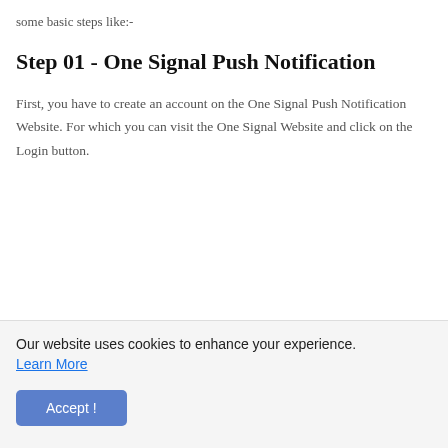some basic steps like:-
Step 01 - One Signal Push Notification
First, you have to create an account on the One Signal Push Notification Website. For which you can visit the One Signal Website and click on the Login button.
Our website uses cookies to enhance your experience. Learn More
Accept !